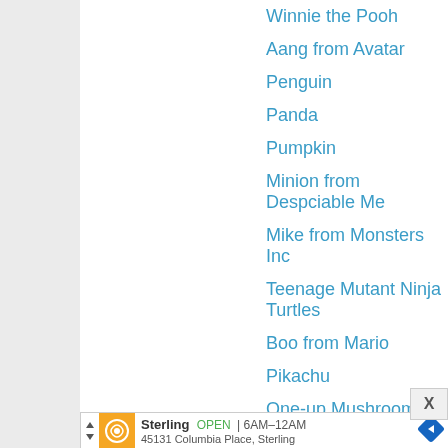Winnie the Pooh
Aang from Avatar
Penguin
Panda
Pumpkin
Minion from Despciable Me
Mike from Monsters Inc
Teenage Mutant Ninja Turtles
Boo from Mario
Pikachu
One-up Mushroom from Mario
Cute Dinosaur
There is a wide array of hattage to choose from! I hop